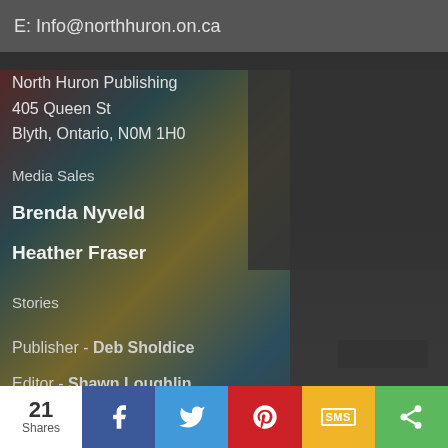E: Info@northhuron.on.ca
North Huron Publishing
405 Queen St
Blyth, Ontario, N0M 1H0
Media Sales
Brenda Nyveld
Heather Fraser
Stories
Publisher - Deb Sholdice
Editor - Shawn Loughlin
21 Shares | Facebook | Twitter | Pinterest | SMS | Share